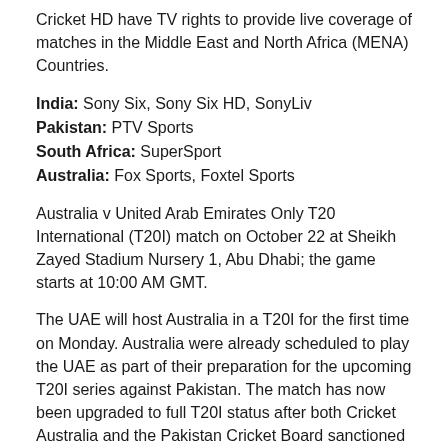Cricket HD have TV rights to provide live coverage of matches in the Middle East and North Africa (MENA) Countries.
India: Sony Six, Sony Six HD, SonyLiv
Pakistan: PTV Sports
South Africa: SuperSport
Australia: Fox Sports, Foxtel Sports
Australia v United Arab Emirates Only T20 International (T20I) match on October 22 at Sheikh Zayed Stadium Nursery 1, Abu Dhabi; the game starts at 10:00 AM GMT.
The UAE will host Australia in a T20I for the first time on Monday. Australia were already scheduled to play the UAE as part of their preparation for the upcoming T20I series against Pakistan. The match has now been upgraded to full T20I status after both Cricket Australia and the Pakistan Cricket Board sanctioned the move.